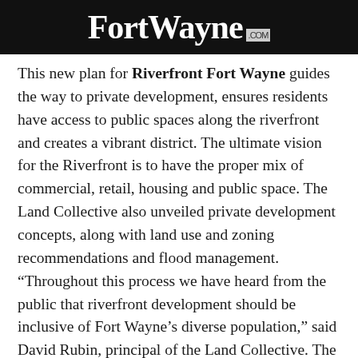FortWayne.com
This new plan for Riverfront Fort Wayne guides the way to private development, ensures residents have access to public spaces along the riverfront and creates a vibrant district. The ultimate vision for the Riverfront is to have the proper mix of commercial, retail, housing and public space. The Land Collective also unveiled private development concepts, along with land use and zoning recommendations and flood management. “Throughout this process we have heard from the public that riverfront development should be inclusive of Fort Wayne’s diverse population,” said David Rubin, principal of the Land Collective. The plan for the private development projects is to concentrate efforts around Promenade Park and move outward to have the greatest impact